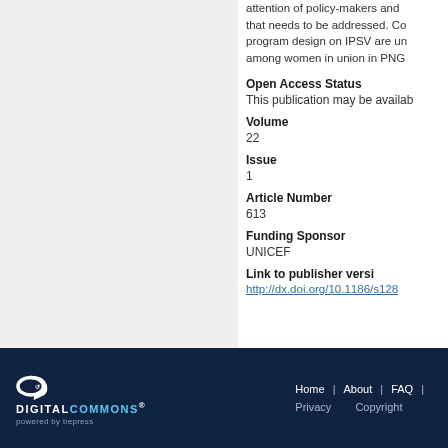attention of policy-makers and that needs to be addressed. Co program design on IPSV are un among women in union in PNG
Open Access Status
This publication may be availab
Volume
22
Issue
1
Article Number
613
Funding Sponsor
UNICEF
Link to publisher versi
http://dx.doi.org/10.1186/s128
Digital Commons powered by bepress | Home | About | FAQ | Privacy | Copyright